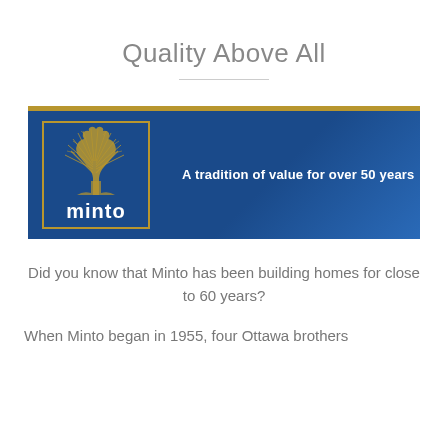Quality Above All
[Figure (logo): Minto logo banner: blue background with gold top border, square logo box containing a gold tree illustration above 'minto' in white bold text, and tagline 'A tradition of value for over 50 years' in white bold text to the right.]
Did you know that Minto has been building homes for close to 60 years?
When Minto began in 1955, four Ottawa brothers